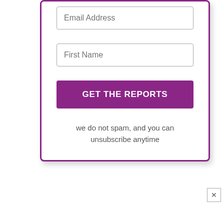Email Address
First Name
GET THE REPORTS
we do not spam, and you can unsubscribe anytime